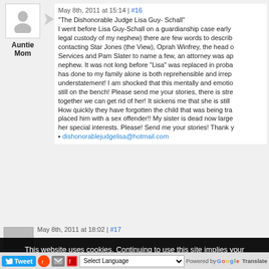Auntie Mom
May 8th, 2011 at 15:14 | #16
"The Dishonorable Judge Lisa Guy- Schall" I went before Lisa Guy-Schall on a guardianship case early legal custody of my nephew) there are few words to describe contacting Star Jones (the View), Oprah Winfrey, the head o Services and Pam Slater to name a few, an attorney was ap nephew. It was not long before "Lisa" was replaced in proba has done to my family alone is both reprehensible and irrep understatement! I am shocked that this mentally and emotic still on the bench! Please send me your stories, there is str together we can get rid of her! It sickens me that she is still How quickly they have forgotten the child that was being tra placed him with a sex offender!! My sister is dead now large her special interests. Please! Send me your stories! Thank v • dishonorablejudgelisa@hotmail.com
May 8th, 2011 at 18:02 | #17
This website uses cookies. Continuing to use this site implies your acknowledgement and acceptance.
Ok
Privacy policy
Tweet  Select Language  Powered by Google Translate